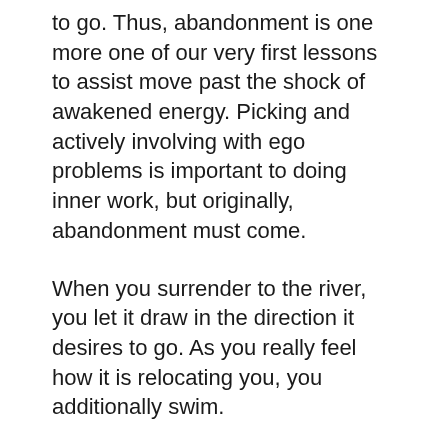to go. Thus, abandonment is one more one of our very first lessons to assist move past the shock of awakened energy. Picking and actively involving with ego problems is important to doing inner work, but originally, abandonment must come.
When you surrender to the river, you let it draw in the direction it desires to go. As you really feel how it is relocating you, you additionally swim.
To Go More In depth about Ultimate Spiritual Awakening Signs keep reading.